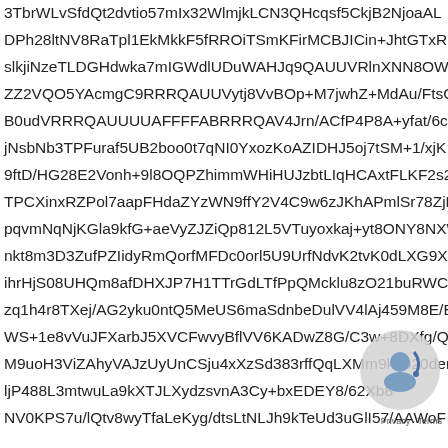3TbrWLvSfdQt2dvtio57mIx32WlmjkLCN3QHcqsf5CkjB2NjoaAL...
DPh28ltNV8RaTpl1EkMkkF5fRROiTSmKFirMCBJICin+JhtGTxR1
slkjiNzeTLDGHdwka7mIGWdlUDuWAHJq9QAUUVRlnXNN8OWB
ZZ2VQO5YAcmgC9RRRQAUUVytj8VvBOp+M7jwhZ+MdAu/FtsGM
B0udVRRRQAUUUUAFFFFABRRRQAV4Jrn/ACfP4P8A+yfat/6cLGv
jNsbNb3TPFuraf5UB2boo0t7qNI0YxozKoAZIDHJ5oj7tSM+1/xjK
9ftD/HG28E2Vonh+9l8OQPZhimmWHiHUJzbtLIqHCAxtFLKF2s2
TPCXinxRZPol7aapFHdaZYzWN9ffY2V4C9w6zJKhAPmlSr78ZjMb
pqvmNqNjKGla9kfG+aeVyZJZiQp812L5VTuyoxkaj+yt8ONY8NXW
nkt8m3D3ZufPZIidyRmQorfMFDc0orl5U9UrfNdvK2tvK0dLXG9X
ihrHjS08UHQm8afDHXJP7H1TTrGdLTfPpQMcklu8zO21buRWCy
zq1h4r8TXej/AG2yku0ntQ5MeUS6maSdnbeDulVV4lAj459M8E/Bv
WS+1e8vVuJFXarbJ5XVCFwvyBflVV6KADwZ8G/C3w+8DXfg/QINS
M9uoH3ViZAhyVAJzUyUnCSju4xXzSd383rffQqLXMm9k2020dent+
ljP488L3mtwuLa9kXTJLXydzsvnA3Cy+bxEDEY8/62Xb8...
NV0KPS7u/lQtv8wyTfaLeKyg/dtsLtNLJh9kTeUd3uGlI57/AAWoF